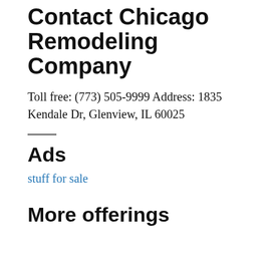Contact Chicago Remodeling Company
Toll free: (773) 505-9999 Address: 1835 Kendale Dr, Glenview, IL 60025
Ads
stuff for sale
More offerings